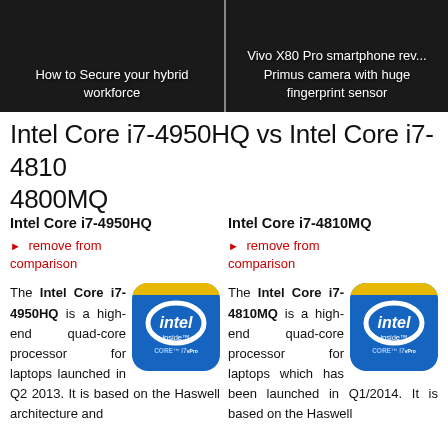How to Secure your hybrid workforce
Vivo X80 Pro smartphone rev... Primus camera with huge fingerprint sensor
Intel Core i7-4950HQ vs Intel Core i7-4810MQ 4800MQ
Intel Core i7-4950HQ
Intel Core i7-4810MQ
► remove from comparison
► remove from comparison
The Intel Core i7-4950HQ is a high-end quad-core processor for laptops launched in Q2 2013. It is based on the Haswell architecture and
[Figure (logo): Intel inside CORE i7 vPro badge]
The Intel Core i7-4810MQ is a high-end quad-core processor for laptops which has been launched in Q1/2014. It is based on the Haswell
[Figure (logo): Intel inside CORE i7 vPro badge]